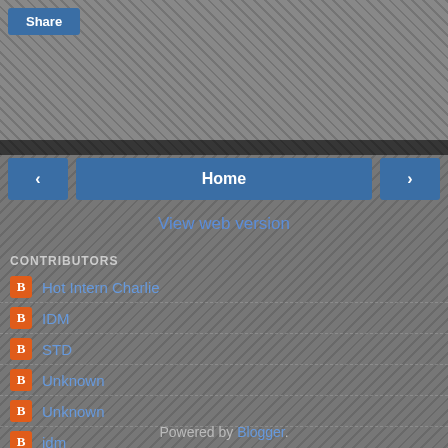Share
< Home >
View web version
CONTRIBUTORS
Hot Intern Charlie
IDM
STD
Unknown
Unknown
idm
smac
Powered by Blogger.